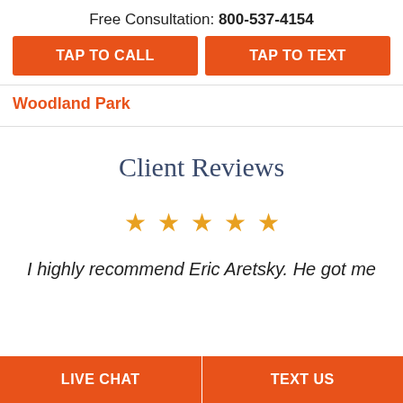Free Consultation: 800-537-4154
TAP TO CALL
TAP TO TEXT
Woodland Park
Client Reviews
★ ★ ★ ★ ★
I highly recommend Eric Aretsky. He got me
LIVE CHAT   TEXT US